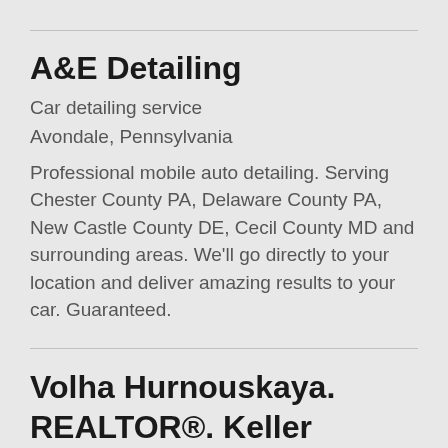A&E Detailing
Car detailing service
Avondale, Pennsylvania
Professional mobile auto detailing. Serving Chester County PA, Delaware County PA, New Castle County DE, Cecil County MD and surrounding areas. We'll go directly to your location and deliver amazing results to your car. Guaranteed.
Volha Hurnouskaya. REALTOR®. Keller Williams